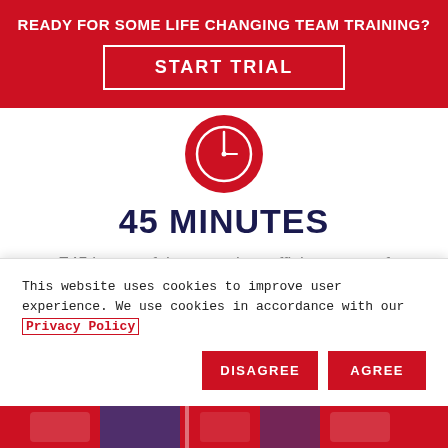READY FOR SOME LIFE CHANGING TEAM TRAINING?
START TRIAL
[Figure (illustration): Clock icon — a red circle with a white clock face showing hands pointing roughly to 9 and 12]
45 MINUTES
F45 is one of the most time-efficient ways of training. We aim to burn up to 750 calories per 45-minute session.
This website uses cookies to improve user experience. We use cookies in accordance with our Privacy Policy
DISAGREE
AGREE